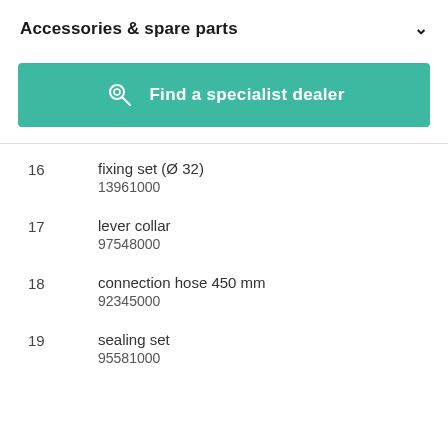Accessories & spare parts
[Figure (other): Teal button with location/dealer icon and text 'Find a specialist dealer']
16  fixing set (Ø 32)  13961000
17  lever collar  97548000
18  connection hose 450 mm  92345000
19  sealing set  95581000